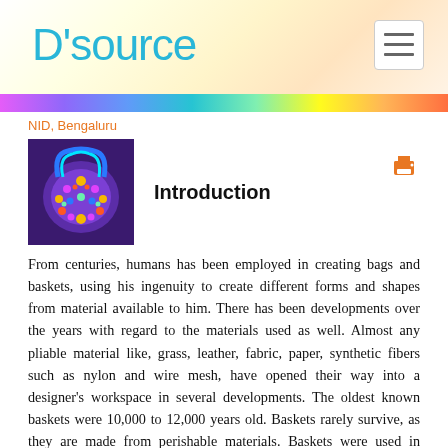D'source
NID, Bengaluru
[Figure (photo): Photo of a colorful beaded woven bag with geometric patterns in purple, blue, yellow and pink]
Introduction
From centuries, humans has been employed in creating bags and baskets, using his ingenuity to create different forms and shapes from material available to him. There has been developments over the years with regard to the materials used as well. Almost any pliable material like, grass, leather, fabric, paper, synthetic fibers such as nylon and wire mesh, have opened their way into a designer's workspace in several developments. The oldest known baskets were 10,000 to 12,000 years old. Baskets rarely survive, as they are made from perishable materials. Baskets were used in workshops for storing and transportation during the Industrial Revolution. Baskets are common products to all the countries of the world, be it Asia or North and South America. Weaving of